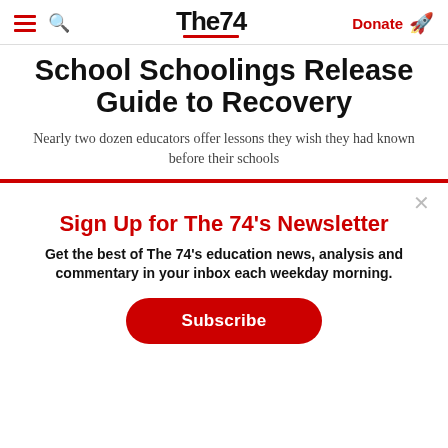The74 | Donate
School Schoolings Release Guide to Recovery
Nearly two dozen educators offer lessons they wish they had known before their schools
Sign Up for The 74's Newsletter
Get the best of The 74's education news, analysis and commentary in your inbox each weekday morning.
Subscribe